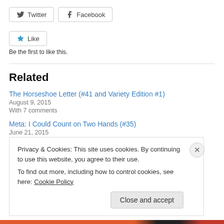[Figure (other): Twitter and Facebook share buttons]
[Figure (other): Like button with star icon]
Be the first to like this.
Related
The Horseshoe Letter (#41 and Variety Edition #1)
August 9, 2015
With 7 comments
Meta: I Could Count on Two Hands (#35)
June 21, 2015
Privacy & Cookies: This site uses cookies. By continuing to use this website, you agree to their use.
To find out more, including how to control cookies, see here: Cookie Policy